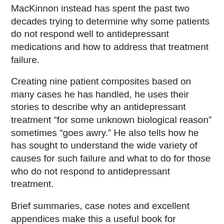MacKinnon instead has spent the past two decades trying to determine why some patients do not respond well to antidepressant medications and how to address that treatment failure.
Creating nine patient composites based on many cases he has handled, he uses their stories to describe why an antidepressant treatment “for some unknown biological reason” sometimes “goes awry.” He also tells how he has sought to understand the wide variety of causes for such failure and what to do for those who do not respond to antidepressant treatment.
Brief summaries, case notes and excellent appendices make this a useful book for practitioners and patients alike.
Ā